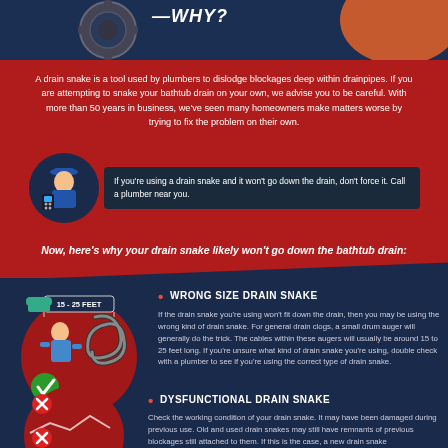—WHY?
A drain snake is a tool used by plumbers to dislodge blockages deep within drainpipes. If you are attempting to snake your bathtub drain on your own, we advise you to be careful. With more than 50 years in business, we've seen many homeowners make matters worse by trying to fix the problem on their own.
If you're using a drain snake and it won't go down the drain, don't force it. Call a plumber near you.
Now, here's why your drain snake likely won't go down the bathtub drain:
WRONG SIZE DRAIN SNAKE
If the drain snake you're using won't fit down the drain, then you may be using the wrong kind of drain snake. For general drain clogs, a small drum auger will generally do the trick. The cables within these augers will usually be around 15 to 25 feet long. If you're unsure what kind of drain snake you're using, double check with a plumber to see if you're using the correct type of drain snake.
DYSFUNCTIONAL DRAIN SNAKE
Check the working condition of your drain snake. It may have been damaged during previous use. Old and used drain snakes may still have remnants of previous blockages still attached to them. If this is the case, a new drain snake